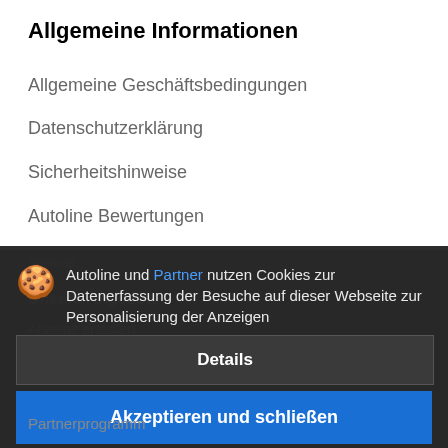Allgemeine Informationen
Allgemeine Geschäftsbedingungen
Datenschutzerklärung
Sicherheitshinweise
Autoline Bewertungen
Sitemap
Unsere Angebote
Anzeige erstellen
Platzieren Sie eine Bannerwerbung
Partnerprogramm
[Figure (screenshot): Cookie consent dialog overlay with cookie emoji icon, text 'Autoline und Partner nutzen Cookies zur Datenerfassung der Besuche auf dieser Webseite zur Personalisierung der Anzeigen', a 'Details' button and an 'Akzeptieren und schließen' blue button]